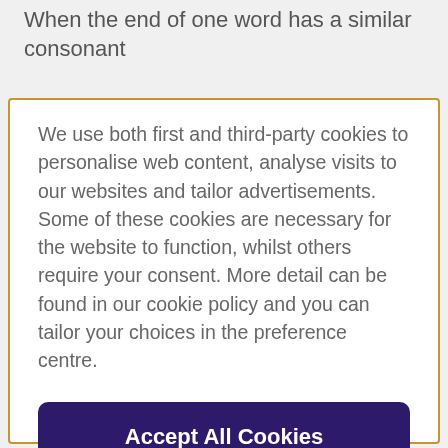When the end of one word has a similar consonant
We use both first and third-party cookies to personalise web content, analyse visits to our websites and tailor advertisements. Some of these cookies are necessary for the website to function, whilst others require your consent. More detail can be found in our cookie policy and you can tailor your choices in the preference centre.
Accept All Cookies
Cookies Settings